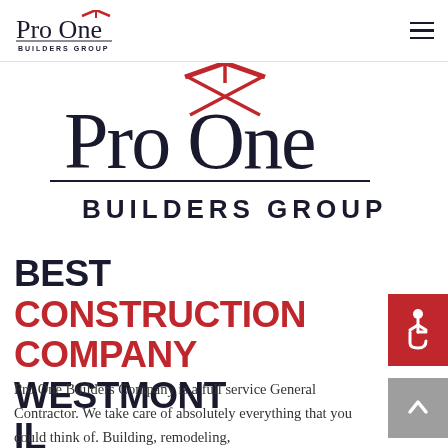[Figure (logo): Pro One Builders Group logo - small version in navigation bar, script text 'Pro One' with red roof/house graphic and 'BUILDERS GROUP' subtitle]
[Figure (logo): Pro One Builders Group logo - large version, script cursive text 'Pro One' with red roof/house graphic above, 'BUILDERS GROUP' in bold spaced capitals below a horizontal line]
BEST CONSTRUCTION COMPANY WESTMONT IL
Pro One Builders Company is a full service General Contractor. We take care of absolutely everything that you could think of. Building, remodeling,